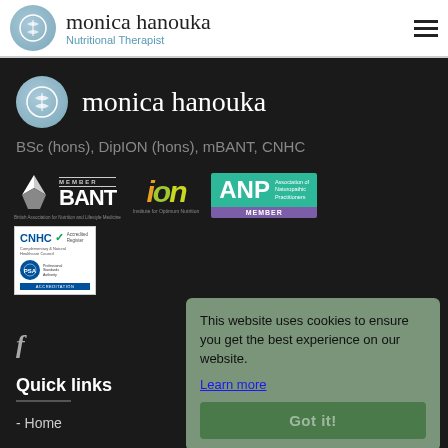monica hanouka — Nutritional Therapist
monica hanouka
BSc (hons), DipION (hons), mBANT, CNHC
[Figure (logo): BANT Member logo — British Association for Nutrition and Lifestyle Medicine]
[Figure (logo): ION — Institute for Optimum Nutrition logo]
[Figure (logo): ANP — Association of Naturopathic Practitioners, Member]
[Figure (logo): CNHC accreditation logo with voluntary register and accreditor marks]
f
Quick links
- Home
This website uses cookies to ensure you get the best experience on our website. Learn more
Got it!